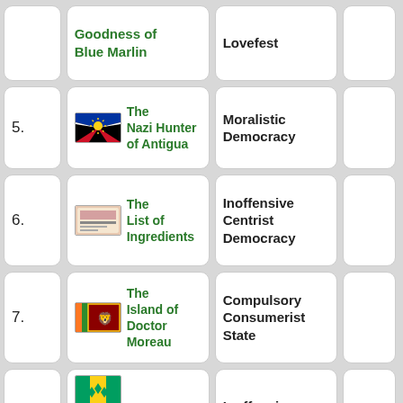| # | Nation | Type | Notes |
| --- | --- | --- | --- |
|  | Goodness of Blue Marlin | Lovefest |  |
| 5. | The Nazi Hunter of Antigua | Moralistic Democracy |  |
| 6. | The List of Ingredients | Inoffensive Centrist Democracy |  |
| 7. | The Island of Doctor Moreau | Compulsory Consumerist State |  |
| 8. | The Republic of Saint Vincent Grenadines | Inoffensive Centrist Democracy |  |
| 9. | The Republic of Guama | Libertarian Police State |  |